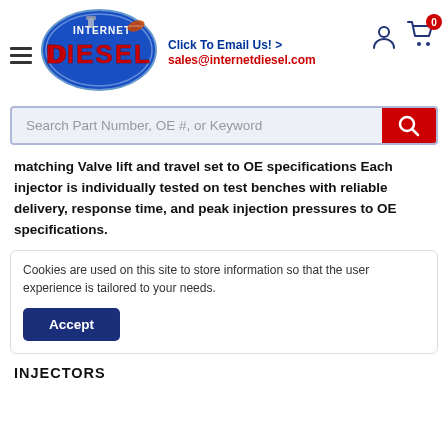[Figure (logo): Internet Diesel logo — blue oval with red and silver 'DIESEL' text and engine parts graphic]
Click To Email Us! > sales@internetdiesel.com
Search Part Number, OE #, or Keyword
matching Valve lift and travel set to OE specifications Each injector is individually tested on test benches with reliable delivery, response time, and peak injection pressures to OE specifications.
Cookies are used on this site to store information so that the user experience is tailored to your needs.
INJECTORS